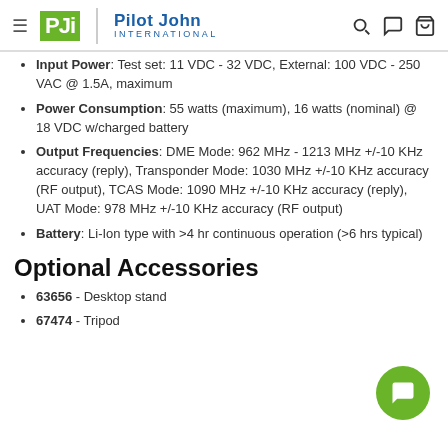Pilot John International
Input Power: Test set: 11 VDC - 32 VDC, External: 100 VDC - 250 VAC @ 1.5A, maximum
Power Consumption: 55 watts (maximum), 16 watts (nominal) @ 18 VDC w/charged battery
Output Frequencies: DME Mode: 962 MHz - 1213 MHz +/-10 KHz accuracy (reply), Transponder Mode: 1030 MHz +/-10 KHz accuracy (RF output), TCAS Mode: 1090 MHz +/-10 KHz accuracy (reply), UAT Mode: 978 MHz +/-10 KHz accuracy (RF output)
Battery: Li-Ion type with >4 hr continuous operation (>6 hrs typical)
Optional Accessories
63656 - Desktop stand
67474 - Tripod